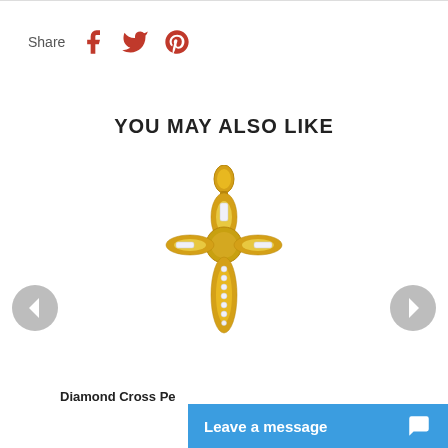Share
YOU MAY ALSO LIKE
[Figure (photo): Gold diamond cross pendant jewelry product photo on white background]
Diamond Cross Pe[ndant]
Leave a message